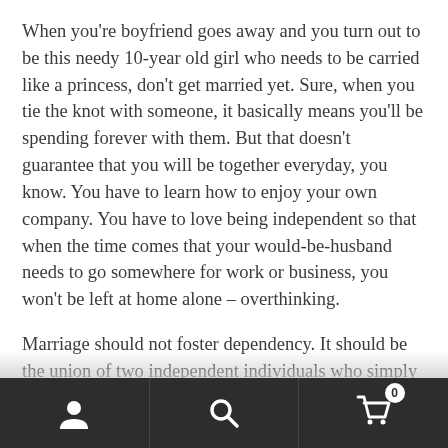When you're boyfriend goes away and you turn out to be this needy 10-year old girl who needs to be carried like a princess, don't get married yet. Sure, when you tie the knot with someone, it basically means you'll be spending forever with them. But that doesn't guarantee that you will be together everyday, you know. You have to learn how to enjoy your own company. You have to love being independent so that when the time comes that your would-be-husband needs to go somewhere for work or business, you won't be left at home alone – overthinking.
Marriage should not foster dependency. It should be the union of two independent individuals who simply choose to be together because they love each other...
[navigation bar with user icon, search icon, cart icon with badge 0]